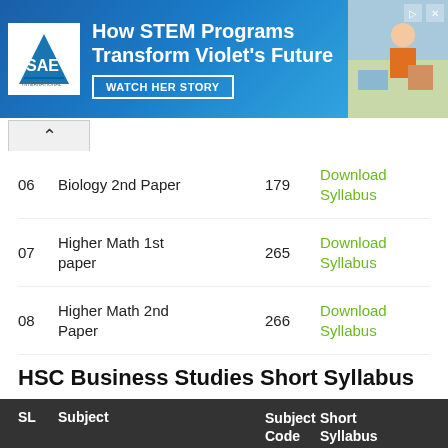[Figure (infographic): SAE advertisement banner: How STEM Programs Transform Violet's Future - Watch Her Story]
06 | Biology 2nd Paper | 179 | Download Syllabus
07 | Higher Math 1st paper | 265 | Download Syllabus
08 | Higher Math 2nd Paper | 266 | Download Syllabus
HSC Business Studies Short Syllabus
| SL | Subject | Subject Code | Short Syllabus |
| --- | --- | --- | --- |
| 01 | Business Organization and | 277 | Download PDF |